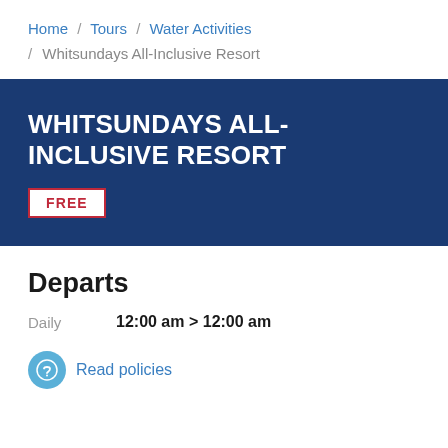Home / Tours / Water Activities / Whitsundays All-Inclusive Resort
WHITSUNDAYS ALL-INCLUSIVE RESORT
FREE
Departs
Daily   12:00 am > 12:00 am
Read policies